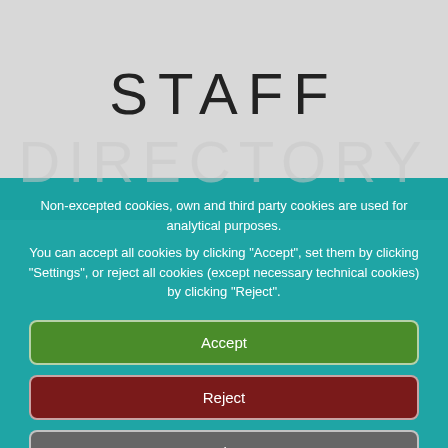[Figure (illustration): Honeycomb hexagon tile background in light grey/white at the top portion of the page]
STAFF DIRECTORY
Non-excepted cookies, own and third party cookies are used for analytical purposes.
You can accept all cookies by clicking "Accept", set them by clicking "Settings", or reject all cookies (except necessary technical cookies) by clicking "Reject".
Accept
Reject
Settings
More Info